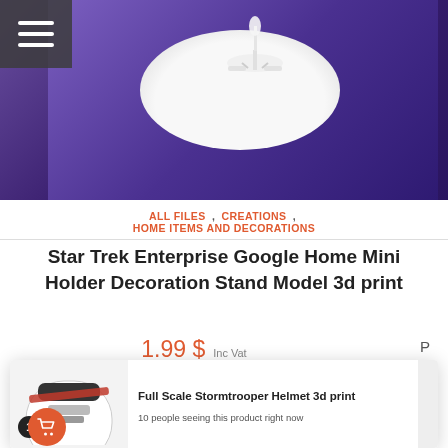[Figure (photo): Star Trek Enterprise model on a white circular plate against a purple starry space background]
ALL FILES , CREATIONS , HOME ITEMS AND DECORATIONS
Star Trek Enterprise Google Home Mini Holder Decoration Stand Model 3d print
1.99 $ Inc Vat
[Figure (photo): Popup notification showing a Stormtrooper helmet 3d print product with badge and cart icon]
Full Scale Stormtrooper Helmet 3d print
10 people seeing this product right now